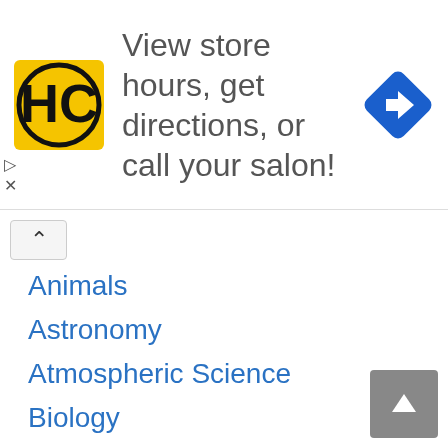[Figure (other): Advertisement banner: HC salon logo and text 'View store hours, get directions, or call your salon!' with a blue navigation arrow icon]
Animals
Astronomy
Atmospheric Science
Biology
Business
Cell Biology
Ecology
Education
Food
General